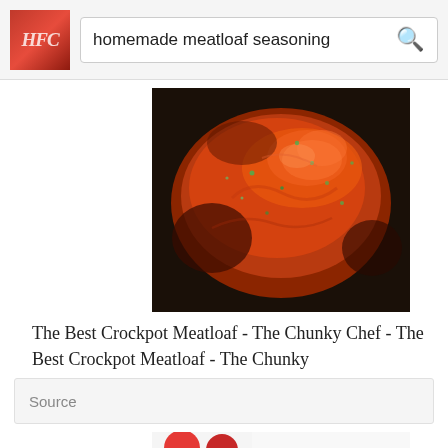[Figure (screenshot): Search bar with logo showing 'HFC' in red box and search field containing 'homemade meatloaf seasoning' with blue search icon]
[Figure (photo): Close-up photo of a glazed meatloaf with red tomato sauce topping and green herb garnish in a dark pan]
The Best Crockpot Meatloaf - The Chunky Chef - The Best Crockpot Meatloaf - The Chunky
Source
[Figure (photo): Partial photo at bottom showing red tomatoes and white background]